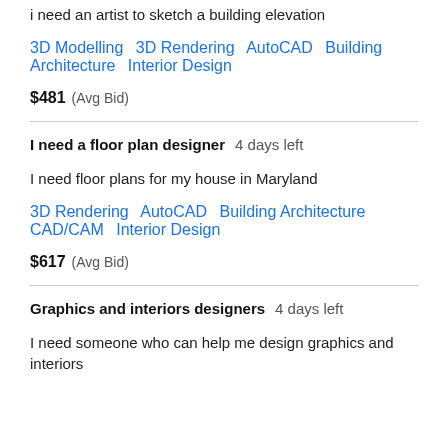i need an artist to sketch a building elevation
3D Modelling   3D Rendering   AutoCAD   Building Architecture   Interior Design
$481  (Avg Bid)
I need a floor plan designer  4 days left
I need floor plans for my house in Maryland
3D Rendering   AutoCAD   Building Architecture   CAD/CAM   Interior Design
$617  (Avg Bid)
Graphics and interiors designers  4 days left
I need someone who can help me design graphics and interiors